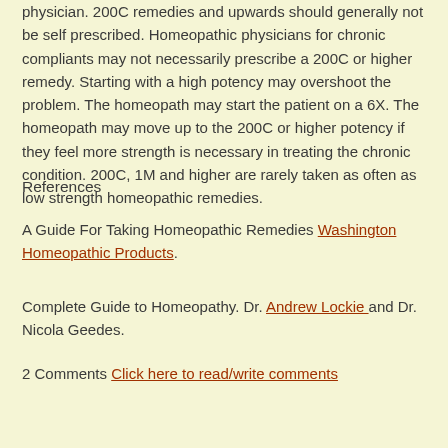physician. 200C remedies and upwards should generally not be self prescribed. Homeopathic physicians for chronic compliants may not necessarily prescribe a 200C or higher remedy. Starting with a high potency may overshoot the problem. The homeopath may start the patient on a 6X. The homeopath may move up to the 200C or higher potency if they feel more strength is necessary in treating the chronic condition. 200C, 1M and higher are rarely taken as often as low strength homeopathic remedies.
References
A Guide For Taking Homeopathic Remedies Washington Homeopathic Products.
Complete Guide to Homeopathy. Dr. Andrew Lockie and Dr. Nicola Geedes.
2 Comments Click here to read/write comments